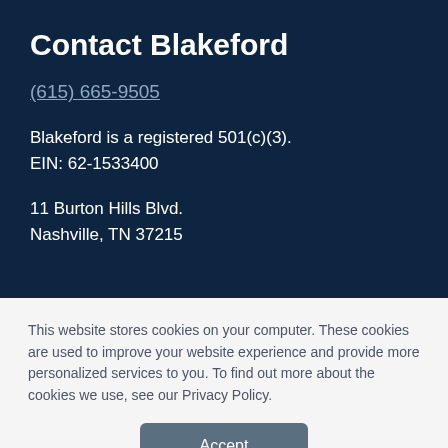Contact Blakeford
(615) 665-9505
Blakeford is a registered 501(c)(3).
EIN: 62-1533400
11 Burton Hills Blvd.
Nashville, TN 37215
This website stores cookies on your computer. These cookies are used to improve your website experience and provide more personalized services to you. To find out more about the cookies we use, see our Privacy Policy.
Accept